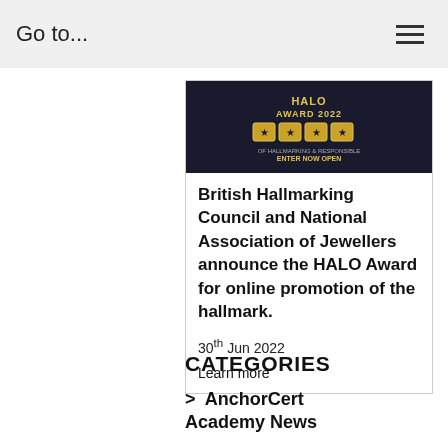Go to...
[Figure (screenshot): HALO Award 2022 promotional banner with golden icons on dark background, text reading HALO AWARD 2022 and ENTER NOW OPEN]
British Hallmarking Council and National Association of Jewellers announce the HALO Award for online promotion of the hallmark.
30th Jun 2022
Learn more
CATEGORIES
> AnchorCert Academy News